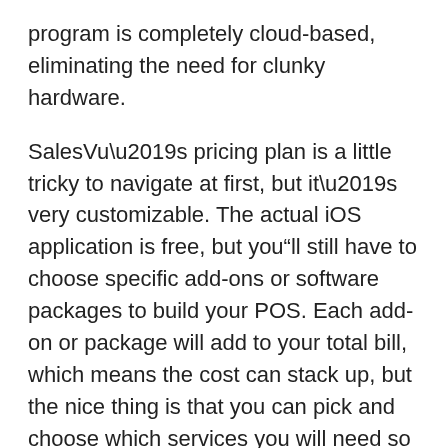program is completely cloud-based, eliminating the need for clunky hardware.
SalesVu’s pricing plan is a little tricky to navigate at first, but it’s very customizable. The actual iOS application is free, but you“ll still have to choose specific add-ons or software packages to build your POS. Each add-on or package will add to your total bill, which means the cost can stack up, but the nice thing is that you can pick and choose which services you will need so you don’t end up paying for features you’ll never use.